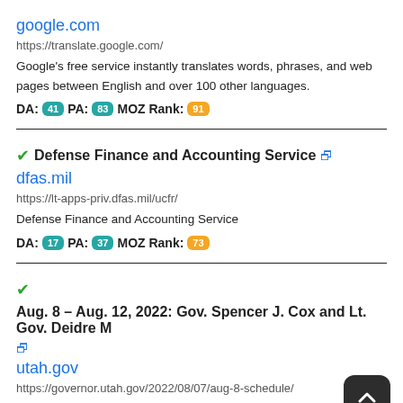google.com
https://translate.google.com/
Google's free service instantly translates words, phrases, and web pages between English and over 100 other languages.
DA: 41  PA: 83  MOZ Rank: 91
Defense Finance and Accounting Service
dfas.mil
https://lt-apps-priv.dfas.mil/ucfr/
Defense Finance and Accounting Service
DA: 17  PA: 37  MOZ Rank: 73
Aug. 8 – Aug. 12, 2022: Gov. Spencer J. Cox and Lt. Gov. Deidre M
utah.gov
https://governor.utah.gov/2022/08/07/aug-8-schedule/
Aug 07, 2022 · Events labeled Media Access indicate that an event is open to media. Events labeled Media Availability indicates that an